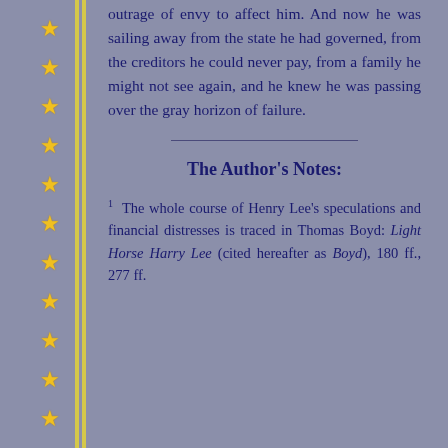outrage of envy to affect him. And now he was sailing away from the state he had governed, from the creditors he could never pay, from a family he might not see again, and he knew he was passing over the gray horizon of failure.
The Author's Notes:
1  The whole course of Henry Lee's speculations and financial distresses is traced in Thomas Boyd: Light Horse Harry Lee (cited hereafter as Boyd), 180 ff., 277 ff.